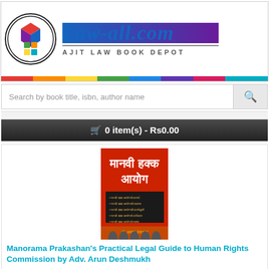[Figure (logo): Law-all.com website header with colorful logo and rainbow strip, Ajit Law Book Depot branding]
Search by book title, isbn, author name
🛒 0 item(s) - Rs0.00
[Figure (photo): Book cover: Manavi Hakka Aayog (Human Rights Commission) in Marathi, red cover with Devanagari text, by Dr. Aruna Deshmukh]
Manorama Prakashan's Practical Legal Guide to Human Rights Commission by Adv. Arun Deshmukh
Please Note: Price of the book includes Delivery Charge Rs. 50.This